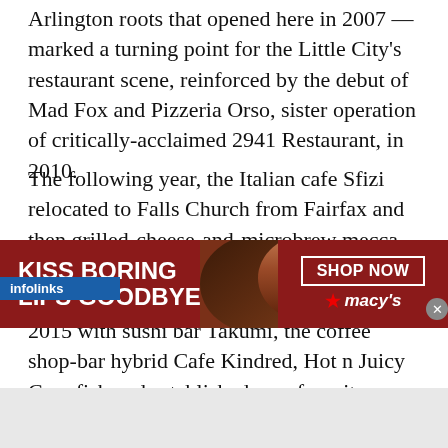Arlington roots that opened here in 2007 — marked a turning point for the Little City's restaurant scene, reinforced by the debut of Mad Fox and Pizzeria Orso, sister operation of critically-acclaimed 2941 Restaurant, in 2010.
The following year, the Italian cafe Sfizi relocated to Falls Church from Fairfax and then grilled-cheese-and-microbrew mecca Spacebar debuted in 2012. A few years later, the City welcomed in a flood of talent in 2015 with sushi bar Takumi, the coffee shop-bar hybrid Cafe Kindred, Hot n Juicy Crawfish and established area favorites Plaka Grill (Vienna) and The Happy Tart (Del Ray) both expanding here.
[Figure (screenshot): Macy's advertisement banner: 'KISS BORING LIPS GOODBYE' with a woman's face and SHOP NOW button with Macy's logo]